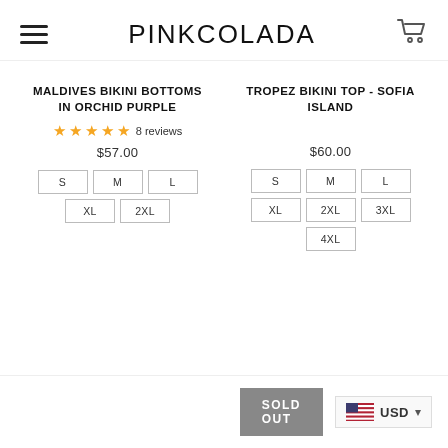PINKCOLADA
MALDIVES BIKINI BOTTOMS IN ORCHID PURPLE
★★★★★ 8 reviews
$57.00
S M L XL 2XL
TROPEZ BIKINI TOP - SOFIA ISLAND
$60.00
S M L XL 2XL 3XL 4XL
SOLD OUT
USD